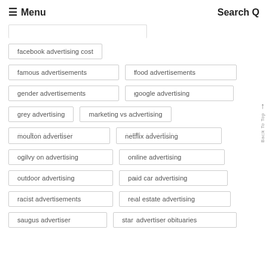Menu | Search
(partial tag — cut off at top)
facebook advertising cost
famous advertisements
food advertisements
gender advertisements
google advertising
grey advertising
marketing vs advertising
moulton advertiser
netflix advertising
ogilvy on advertising
online advertising
outdoor advertising
paid car advertising
racist advertisements
real estate advertising
saugus advertiser
star advertiser obituaries